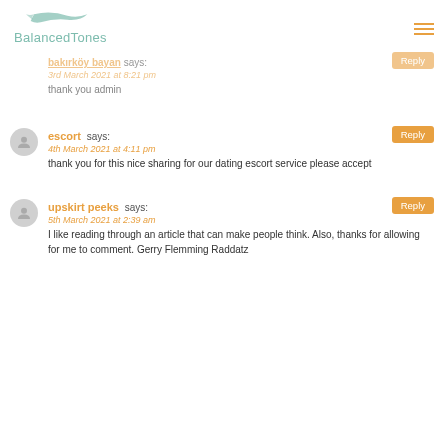BalancedTones
bakırköy bayan says: 3rd March 2021 at 8:21 pm
thank you admin
escort says: 4th March 2021 at 4:11 pm
thank you for this nice sharing for our dating escort service please accept
upskirt peeks says: 5th March 2021 at 2:39 am
I like reading through an article that can make people think. Also, thanks for allowing for me to comment. Gerry Flemming Raddatz